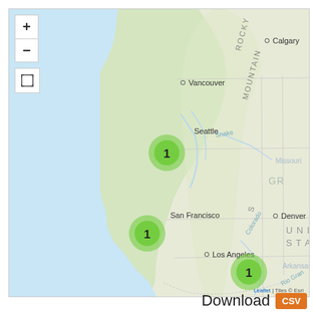[Figure (map): Interactive Leaflet map showing the western United States and southwestern Canada. The map displays three green cluster markers each labeled '1': one near Seattle/Washington, one near San Francisco/California, and one near the Arizona/New Mexico border area south of Los Angeles. City labels visible include Calgary, Vancouver, Seattle, San Francisco, Los Angeles, Denver. Geographic labels include Rocky Mountains, Columbia, Snake, Colorado, Missouri, Arkansas, Rio Grande, GREAT PLAINS partial text. Map tiles credited to Esri. Map controls (zoom in/out and fullscreen) are shown in the upper left. Attribution reads 'Leaflet | Tiles © Esri'.]
Download CSV